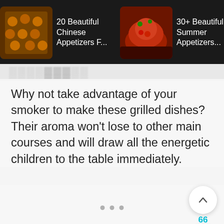[Figure (screenshot): Horizontal strip of three food recipe cards with thumbnail images and titles: '20 Beautiful Chinese Appetizers F...', '30+ Beautiful Summer Appetizers...', '35 Easy Ita... App... Wish You...' on dark background]
Why not take advantage of your smoker to make these grilled dishes? Their aroma won't lose to other main courses and will draw all the energetic children to the table immediately.
[Figure (screenshot): White card placeholder area with floating action buttons on right: up-arrow chevron button, number 66 in teal, heart outline button, and teal search/magnifier FAB button. Three dot page indicators at bottom center.]